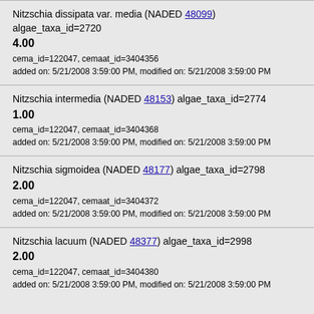Nitzschia dissipata var. media (NADED 48099) algae_taxa_id=2720
4.00
cema_id=122047, cemaat_id=3404356
added on: 5/21/2008 3:59:00 PM, modified on: 5/21/2008 3:59:00 PM
Nitzschia intermedia (NADED 48153) algae_taxa_id=2774
1.00
cema_id=122047, cemaat_id=3404368
added on: 5/21/2008 3:59:00 PM, modified on: 5/21/2008 3:59:00 PM
Nitzschia sigmoidea (NADED 48177) algae_taxa_id=2798
2.00
cema_id=122047, cemaat_id=3404372
added on: 5/21/2008 3:59:00 PM, modified on: 5/21/2008 3:59:00 PM
Nitzschia lacuum (NADED 48377) algae_taxa_id=2998
2.00
cema_id=122047, cemaat_id=3404380
added on: 5/21/2008 3:59:00 PM, modified on: 5/21/2008 3:59:00 PM